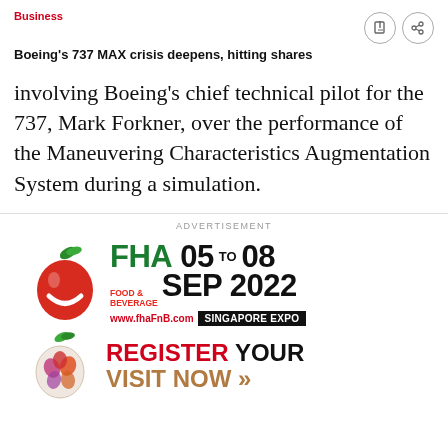Business
Boeing's 737 MAX crisis deepens, hitting shares
involving Boeing's chief technical pilot for the 737, Mark Forkner, over the performance of the Maneuvering Characteristics Augmentation System during a simulation.
ADVERTISEMENT
[Figure (illustration): FHA Food & Beverage advertisement banner. Shows red apple logo with green leaves, FHA Food & Beverage branding in green, dates 05 TO 08 SEP 2022, www.fhaFnB.com, Singapore Expo badge in black. Below: colorful apple with flower pattern, REGISTER YOUR VISIT NOW text in red and gold.]